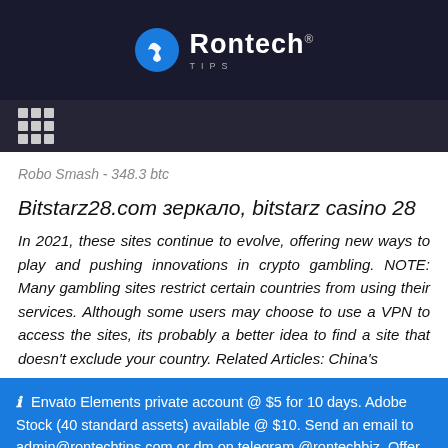Rontech TIPS
Robo Smash - 348.3 btc
Bitstarz28.com зеркало, bitstarz casino 28
In 2021, these sites continue to evolve, offering new ways to play and pushing innovations in crypto gambling. NOTE: Many gambling sites restrict certain countries from using their services. Although some users may choose to use a VPN to access the sites, its probably a better idea to find a site that doesn't exclude your country. Related Articles: China's
ℹ Envato Elements private account @ $5 for 10 days. Adobe Stock (40 standard assets) available @ $10. Send an email to admin@rontechtips.com or dm on telegram @rontechbiz. Offer valid while stocks last.